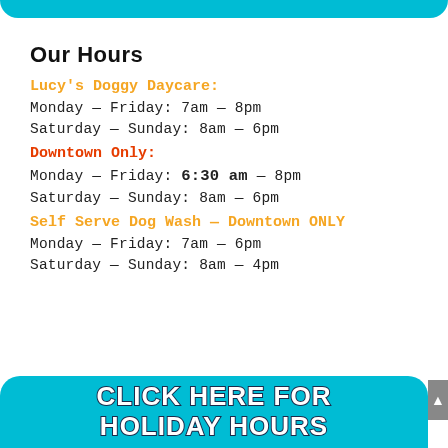Our Hours
Lucy's Doggy Daycare:
Monday — Friday: 7am — 8pm
Saturday — Sunday: 8am — 6pm
Downtown Only:
Monday — Friday: 6:30 am — 8pm
Saturday — Sunday: 8am — 6pm
Self Serve Dog Wash — Downtown ONLY
Monday — Friday: 7am — 6pm
Saturday — Sunday: 8am — 4pm
CLICK HERE FOR HOLIDAY HOURS